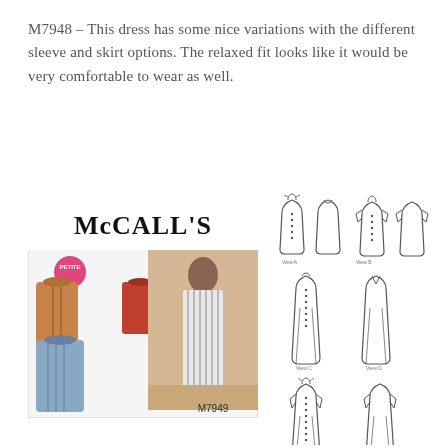M7948 – This dress has some nice variations with the different sleeve and skirt options. The relaxed fit looks like it would be very comfortable to wear as well.
[Figure (photo): McCall's sewing pattern M7949 cover showing three dress variations: orange/red plaid dress, orange short-sleeve dress, and blue button-front dress, with a model wearing a striped sleeveless dress. Pink 'PETITE' badge visible. Pattern number M7949 at bottom.]
[Figure (illustration): Technical flat sewing pattern schematics showing front and back views of three dress length variations: short dress with bow/tie neckline (views A/B), midi-length dress with V-back (views C/D), and long dress with bow back (views E/F). All drawn in black and white line art.]